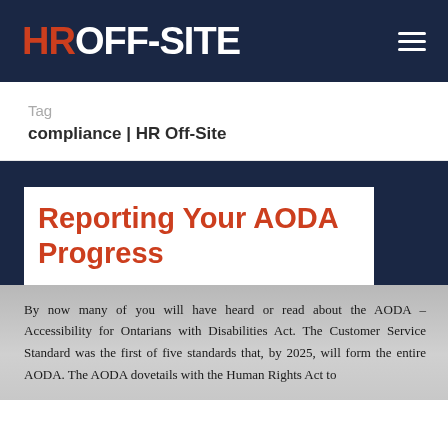HR OFF-SITE
Tag
compliance | HR Off-Site
Reporting Your AODA Progress
By now many of you will have heard or read about the AODA – Accessibility for Ontarians with Disabilities Act. The Customer Service Standard was the first of five standards that, by 2025, will form the entire AODA. The AODA dovetails with the Human Rights Act to